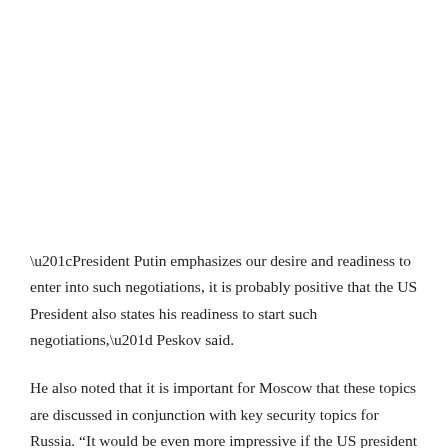“President Putin emphasizes our desire and readiness to enter into such negotiations, it is probably positive that the US President also states his readiness to start such negotiations,” Peskov said.
He also noted that it is important for Moscow that these topics are discussed in conjunction with key security topics for Russia. “It would be even more impressive if the US president also addressed the Ukrainian people and halted the Ukrainian people never to